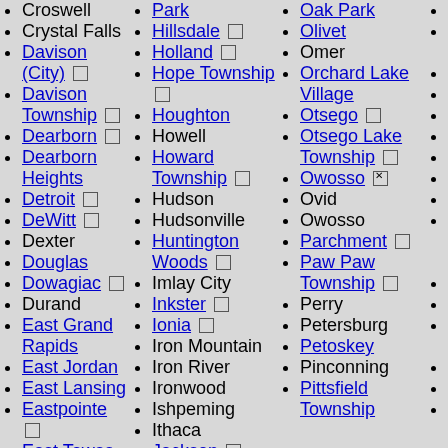Croswell
Crystal Falls
Davison (City) [checkbox]
Davison Township [checkbox]
Dearborn [checkbox]
Dearborn Heights
Detroit [checkbox]
DeWitt [checkbox]
Dexter
Douglas
Dowagiac [checkbox]
Durand
East Grand Rapids
East Jordan
East Lansing
Eastpointe [checkbox]
East Tawas [checkbox]
Eaton Rapids
Ecorse
Elmwood
Park
Hillsdale [checkbox]
Holland [checkbox]
Hope Township [checkbox]
Houghton
Howell
Howard Township [checkbox]
Hudson
Hudsonville
Huntington Woods [checkbox]
Imlay City
Inkster [checkbox]
Ionia [checkbox]
Iron Mountain
Iron River
Ironwood
Ishpeming
Ithaca
Jackson [checkbox]
Oak Park
Olivet
Omer
Orchard Lake Village
Otsego [checkbox]
Otsego Lake Township [checkbox]
Owosso [checked]
Ovid
Owosso
Parchment [checkbox]
Paw Paw Township [checkbox]
Perry
Petersburg
Petoskey
Pinconning
Pittsfield Township